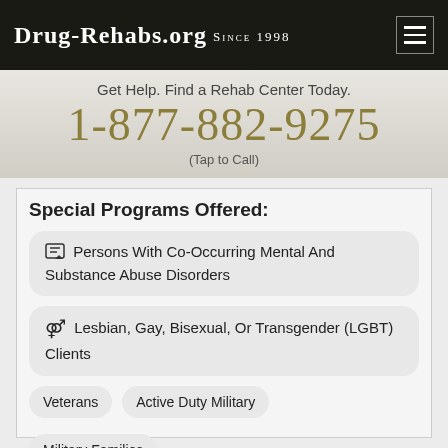Drug-Rehabs.org Since 1998
Get Help. Find a Rehab Center Today.
1-877-882-9275
(Tap to Call)
Special Programs Offered:
Persons With Co-Occurring Mental And Substance Abuse Disorders
Lesbian, Gay, Bisexual, Or Transgender (LGBT) Clients
Veterans
Active Duty Military
Military Families
Clients Referred From The Court/Judicial System (Other Than Dui/Dwi)